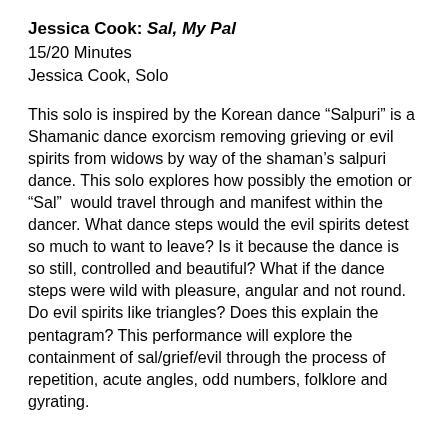Jessica Cook: Sal, My Pal
15/20 Minutes
Jessica Cook, Solo
This solo is inspired by the Korean dance “Salpuri” is a Shamanic dance exorcism removing grieving or evil spirits from widows by way of the shaman’s salpuri dance. This solo explores how possibly the emotion or “Sal”  would travel through and manifest within the dancer. What dance steps would the evil spirits detest so much to want to leave? Is it because the dance is so still, controlled and beautiful? What if the dance steps were wild with pleasure, angular and not round. Do evil spirits like triangles? Does this explain the pentagram? This performance will explore the containment of sal/grief/evil through the process of repetition, acute angles, odd numbers, folklore and gyrating.